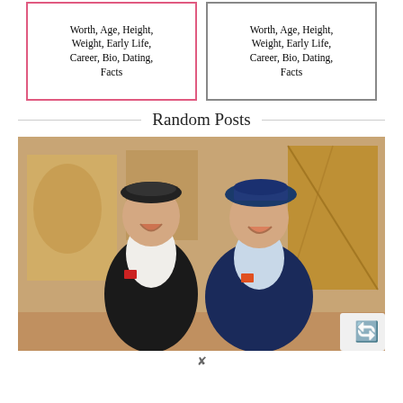[Figure (other): Left card thumbnail with pink/red border showing text: Worth, Age, Height, Weight, Early Life, Career, Bio, Dating, Facts]
[Figure (other): Right card thumbnail with gray border showing text: Worth, Age, Height, Weight, Early Life, Career, Bio, Dating, Facts]
Random Posts
[Figure (photo): Photo of two older men smiling, both wearing hats — left man in black blazer with white turtleneck and red pocket square, right man in navy blue blazer with orange pocket square. Art gallery background with yellow/brown paintings.]